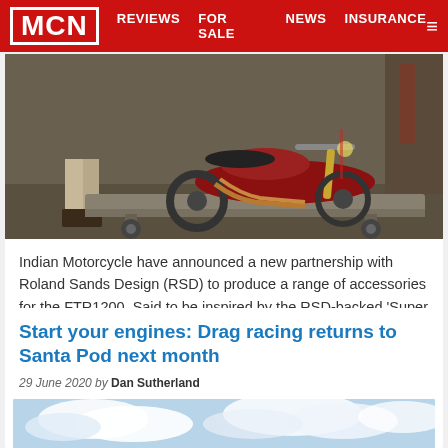MCN | REVIEWS | FOR SALE | NEWS | INSURANCE
[Figure (photo): Motorcycle on a metal trailer platform in a garage/workshop setting, with a person standing nearby]
Indian Motorcycle have announced a new partnership with Roland Sands Design (RSD) to produce a range of accessories for the FTR1200.  Said to be inspired by the RSD-backed 'Super Hooligan' American...
Start your engines: Drag racing returns to Santa Pod next month
29 June 2020 by Dan Sutherland
[Figure (photo): Sky with clouds, likely a drag racing track scene]